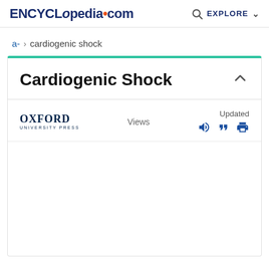ENCYCLopedia•com   EXPLORE
a-  >  cardiogenic shock
Cardiogenic Shock
[Figure (logo): Oxford University Press logo with text OXFORD UNIVERSITY PRESS]
Views
Updated